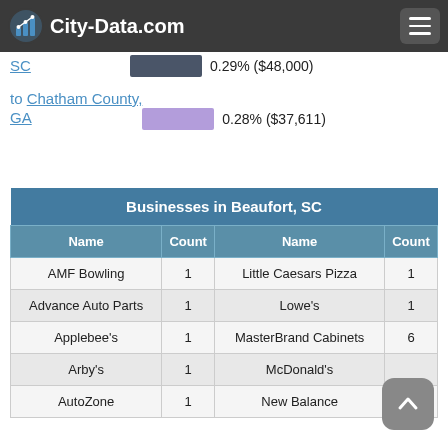City-Data.com
average AGI)
SC  0.29% ($48,000)
to Chatham County, GA  0.28% ($37,611)
| Name | Count | Name | Count |
| --- | --- | --- | --- |
| AMF Bowling | 1 | Little Caesars Pizza | 1 |
| Advance Auto Parts | 1 | Lowe's | 1 |
| Applebee's | 1 | MasterBrand Cabinets | 6 |
| Arby's | 1 | McDonald's |  |
| AutoZone | 1 | New Balance | 1 |